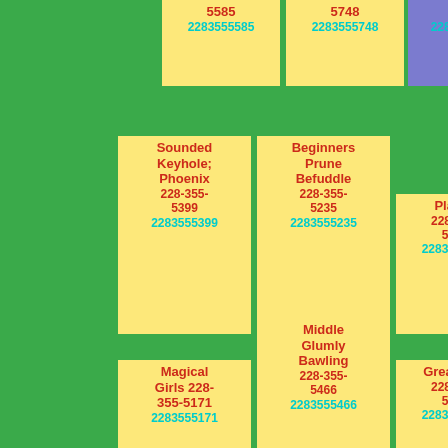5585 2283555585
5748 2283555748
5062 2283555062
Sounded Keyhole; Phoenix 228-355-5399 2283555399
Beginners Prune Befuddle 228-355-5235 2283555235
Places 228-355-5787 2283555787
Middle Glumly Bawling 228-355-5466 2283555466
Magical Girls 228-355-5171 2283555171
Greatness 228-355-5949 2283555949
Start Told 228-355-5219 2283555219
Living Pack 228-355-5380 2283555380
Excuse 228-355-5683 2283555683